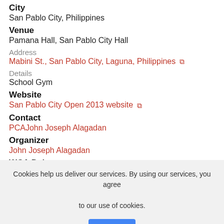City
San Pablo City, Philippines
Venue
Pamana Hall, San Pablo City Hall
Address
Mabini St., San Pablo City, Laguna, Philippines [external link]
Details
School Gym
Website
San Pablo City Open 2013 website [external link]
Contact
PCAJohn Joseph Alagadan
Organizer
John Joseph Alagadan
WCA Delegate
Jonathan Papa
Information
Cookies help us deliver our services. By using our services, you agree to our use of cookies.
OK